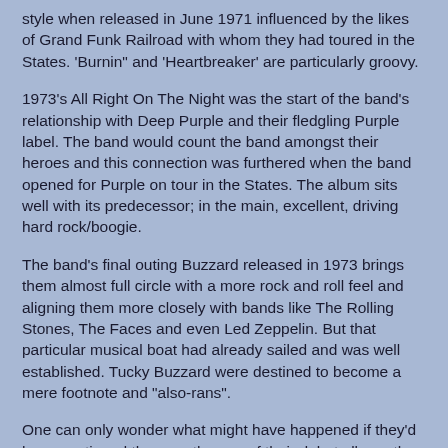style when released in June 1971 influenced by the likes of Grand Funk Railroad with whom they had toured in the States.  'Burnin" and 'Heartbreaker' are particularly groovy.
1973's All Right On The Night was the start of the band's relationship with Deep Purple and their fledgling Purple label.  The band would count the band amongst their heroes and this connection was furthered when the band opened for Purple on tour in the States.  The album sits well with its predecessor; in the main, excellent, driving hard rock/boogie.
The band's final outing Buzzard released in 1973 brings them almost full circle with a more rock and roll feel and aligning them more closely with bands like The Rolling Stones, The Faces and even Led Zeppelin.  But that particular musical boat had already sailed and was well established.  Tucky Buzzard were destined to become a mere footnote and  "also-rans".
One can only wonder what might have happened if they'd have continued the prog themes of their debut album, the musicianship was certainly top notch and with a refreshing